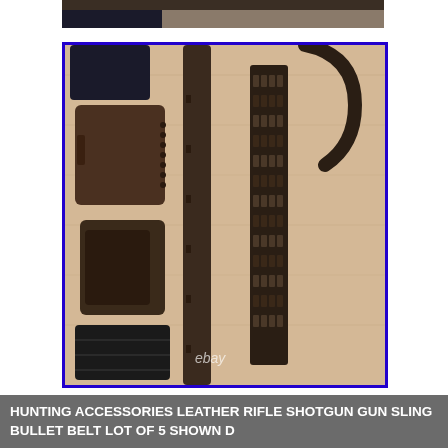[Figure (photo): Partial top edge of a product photo showing dark colored hunting accessories on a light wood surface]
[Figure (photo): Photo of hunting accessories including leather holsters/pouches, leather rifle/shotgun sling, and bullet belt with ammunition loops laid out on a light wood floor surface. eBay watermark visible at bottom.]
HUNTING ACCESSORIES LEATHER RIFLE SHOTGUN GUN SLING BULLET BELT LOT OF 5 SHOWN D